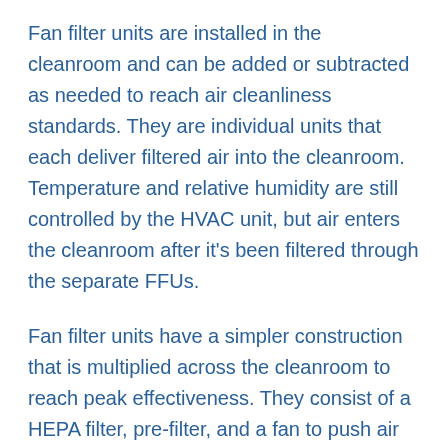Fan filter units are installed in the cleanroom and can be added or subtracted as needed to reach air cleanliness standards. They are individual units that each deliver filtered air into the cleanroom. Temperature and relative humidity are still controlled by the HVAC unit, but air enters the cleanroom after it's been filtered through the separate FFUs.
Fan filter units have a simpler construction that is multiplied across the cleanroom to reach peak effectiveness. They consist of a HEPA filter, pre-filter, and a fan to push air through the unit. The more stringent the cleanroom classification, the more fan filter units required to reach particle count requirements. For example, while an ISO Class 8 cleanroom may